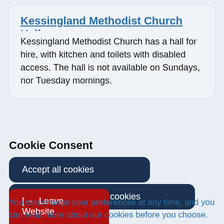Kessingland Methodist Church Hall
Kessingland Methodist Church has a hall for hire, with kitchen and toilets with disabled access. The hall is not available on Sundays, nor Tuesday mornings.
Cookie Consent
Accept all cookies
Only accept essential cookies
You can change your preferences at any time, and you can read more about our cookies before you choose.
Leave Website